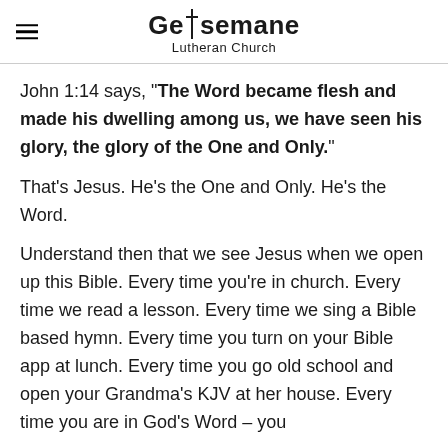Gethsemane Lutheran Church
John 1:14 says, "The Word became flesh and made his dwelling among us, we have seen his glory, the glory of the One and Only."
That’s Jesus. He’s the One and Only. He’s the Word.
Understand then that we see Jesus when we open up this Bible. Every time you’re in church. Every time we read a lesson. Every time we sing a Bible based hymn. Every time you turn on your Bible app at lunch. Every time you go old school and open your Grandma’s KJV at her house. Every time you are in God’s Word – you